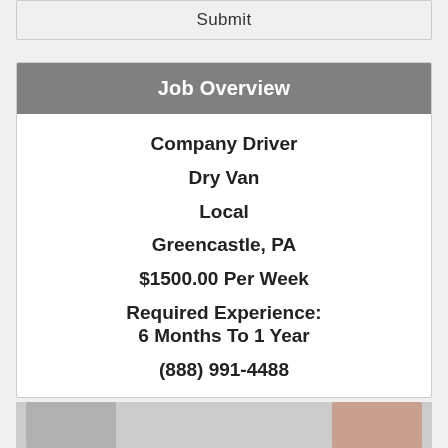Submit
Job Overview
Company Driver
Dry Van
Local
Greencastle, PA
$1500.00 Per Week
Required Experience: 6 Months To 1 Year
(888) 991-4488
[Figure (photo): Two partial images visible at the bottom of the page]